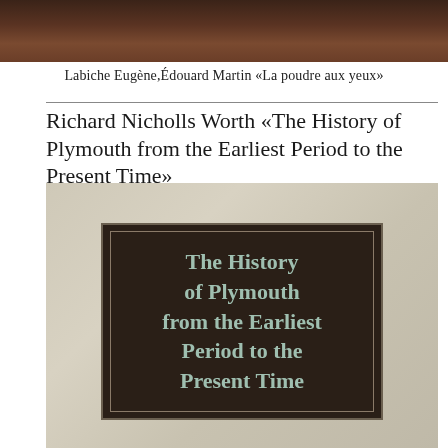[Figure (photo): Dark brown textured background image at top of page, appears to be a book cover or decorative element]
Labiche Eugène,Édouard Martin «La poudre aux yeux»
Richard Nicholls Worth «The History of Plymouth from the Earliest Period to the Present Time»
[Figure (photo): Book cover image on aged parchment-colored background showing a dark brown bordered box with text reading 'The History of Plymouth from the Earliest Period to the Present Time' in teal/sage colored lettering]